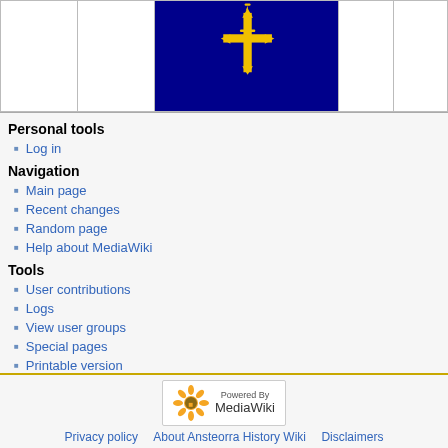[Figure (other): Table with dark blue center cell showing a fleur-de-lis style golden emblem on dark blue background, flanked by empty white cells]
Personal tools
Log in
Navigation
Main page
Recent changes
Random page
Help about MediaWiki
Tools
User contributions
Logs
View user groups
Special pages
Printable version
[Figure (other): Scroll-to-top button with upward triangle arrow inside a gold-bordered square]
[Figure (logo): Powered by MediaWiki logo with sunflower icon]
Privacy policy   About Ansteorra History Wiki   Disclaimers